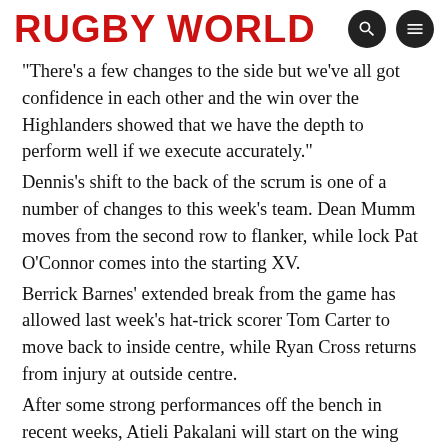RUGBY WORLD
"There's a few changes to the side but we've all got confidence in each other and the win over the Highlanders showed that we have the depth to perform well if we execute accurately."
Dennis's shift to the back of the scrum is one of a number of changes to this week's team. Dean Mumm moves from the second row to flanker, while lock Pat O'Connor comes into the starting XV.
Berrick Barnes' extended break from the game has allowed last week's hat-trick scorer Tom Carter to move back to inside centre, while Ryan Cross returns from injury at outside centre.
After some strong performances off the bench in recent weeks, Atieli Pakalani will start on the wing with Sosene